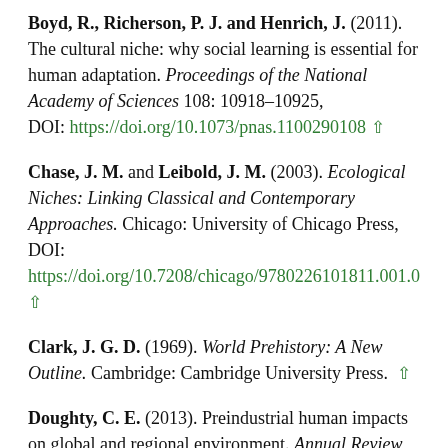Boyd, R., Richerson, P. J. and Henrich, J. (2011). The cultural niche: why social learning is essential for human adaptation. Proceedings of the National Academy of Sciences 108: 10918–10925, DOI: https://doi.org/10.1073/pnas.1100290108 ↑
Chase, J. M. and Leibold, J. M. (2003). Ecological Niches: Linking Classical and Contemporary Approaches. Chicago: University of Chicago Press, DOI: https://doi.org/10.7208/chicago/9780226101811.001.0001 ↑
Clark, J. G. D. (1969). World Prehistory: A New Outline. Cambridge: Cambridge University Press. ↑
Doughty, C. E. (2013). Preindustrial human impacts on global and regional environment. Annual Review of...